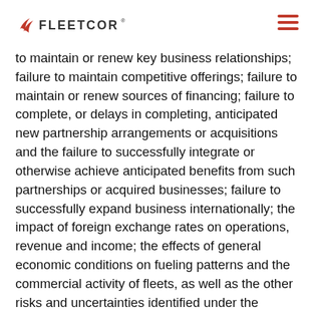FLEETCOR
to maintain or renew key business relationships; failure to maintain competitive offerings; failure to maintain or renew sources of financing; failure to complete, or delays in completing, anticipated new partnership arrangements or acquisitions and the failure to successfully integrate or otherwise achieve anticipated benefits from such partnerships or acquired businesses; failure to successfully expand business internationally; the impact of foreign exchange rates on operations, revenue and income; the effects of general economic conditions on fueling patterns and the commercial activity of fleets, as well as the other risks and uncertainties identified under the caption "Risk Factors" in FleetCor's Annual Report on Form 10-K for the year ended December 31, 2010, filed with the Securities and Exchange Commission on March 25, 2011. FleetCor believes these forward-looking statements are reasonable;